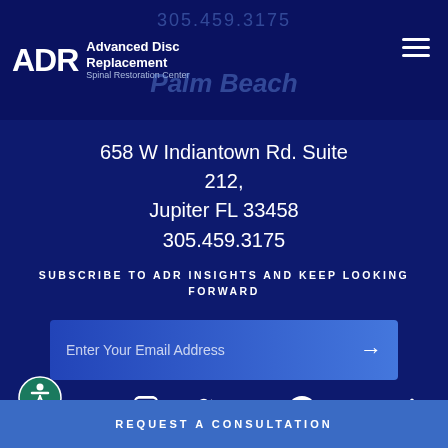[Figure (logo): ADR Advanced Disc Replacement Spinal Restoration Center logo with hamburger menu icon]
658 W Indiantown Rd. Suite 212,
Jupiter FL 33458
305.459.3175
SUBSCRIBE TO ADR INSIGHTS AND KEEP LOOKING FORWARD
Enter Your Email Address
[Figure (infographic): Social media icons: Instagram, Twitter, YouTube, Facebook]
REQUEST A CONSULTATION